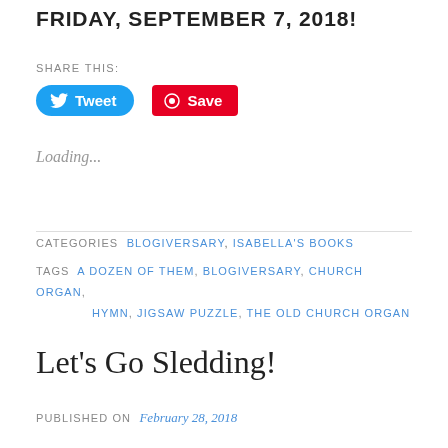FRIDAY, SEPTEMBER 7, 2018!
SHARE THIS:
Tweet  Save
Loading...
CATEGORIES  BLOGIVERSARY, ISABELLA'S BOOKS
TAGS  A DOZEN OF THEM, BLOGIVERSARY, CHURCH ORGAN, HYMN, JIGSAW PUZZLE, THE OLD CHURCH ORGAN
Let's Go Sledding!
PUBLISHED ON  February 28, 2018